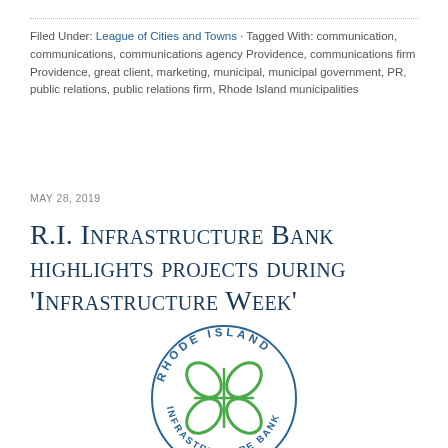Filed Under: League of Cities and Towns · Tagged With: communication, communications, communications agency Providence, communications firm Providence, great client, marketing, municipal, municipal government, PR, public relations, public relations firm, Rhode Island municipalities
MAY 28, 2019
R.I. Infrastructure Bank highlights projects during 'Infrastructure Week'
[Figure (logo): Rhode Island Infrastructure Bank circular logo with green four-leaf clover emblem and blue text reading RHODE ISLAND INFRASTRUCTURE BANK around the circle]